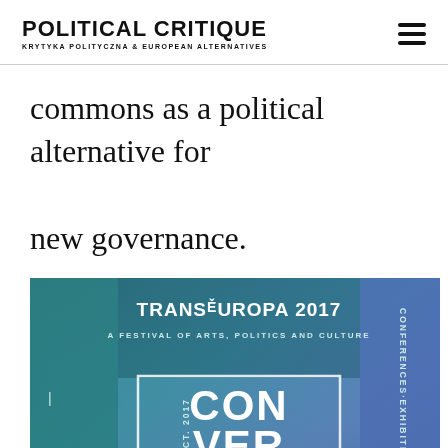POLITICAL CRITIQUE — KRYTYKA POLITYCZNA & EUROPEAN ALTERNATIVES
commons as a political alternative for new governance.
[Figure (illustration): TransEuropa 2017 festival poster: teal/blue textured background with large white bold text reading CON VER GENT ERA (split across lines). Top text: TRANSEUROPA 2017 / A FESTIVAL OF ARTS, POLITICS AND CULTURE. Left vertical text: MADRID 25–29 OCT. 2017. Right vertical text: CONFERENCES·EXHIBITIONS.]